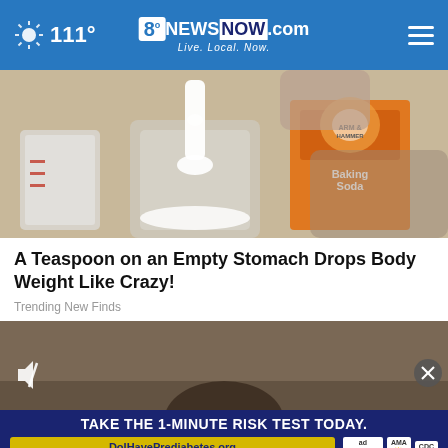111° 8NewsNow.com Live. Local. Now.
[Figure (photo): Hands holding a box of Arm & Hammer Baking Soda, spooning white powder into a glass jar with a measuring cup nearby]
A Teaspoon on an Empty Stomach Drops Body Weight Like Crazy!
Trending New Finds
[Figure (screenshot): Video player with mute icon and close button, showing a blurred background scene, with an ad banner at the bottom reading TAKE THE 1-MINUTE RISK TEST TODAY. DolHavePrediabetes.org with ad council, AMA, and CDC logos]